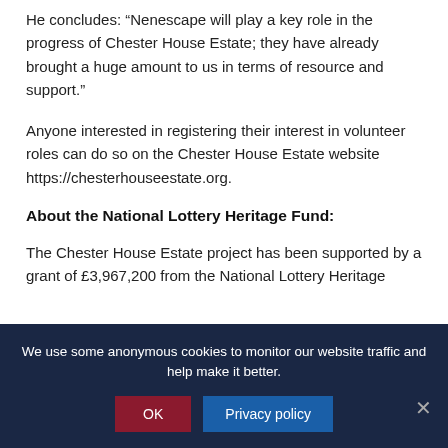He concludes: “Nenescape will play a key role in the progress of Chester House Estate; they have already brought a huge amount to us in terms of resource and support.”
Anyone interested in registering their interest in volunteer roles can do so on the Chester House Estate website https://chesterhouseestate.org.
About the National Lottery Heritage Fund:
The Chester House Estate project has been supported by a grant of £3,967,200 from the National Lottery Heritage
We use some anonymous cookies to monitor our website traffic and help make it better.